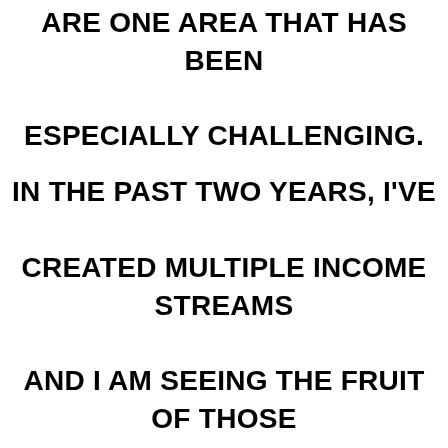ARE ONE AREA THAT HAS BEEN ESPECIALLY CHALLENGING.
IN THE PAST TWO YEARS, I'VE CREATED MULTIPLE INCOME STREAMS AND I AM SEEING THE FRUIT OF THOSE LABORS.
PLEASE NOTE, I AM NOT A BUSINESS COACH, BUT I CAN POINT YOU TOWARDS ONE OF THE BEST